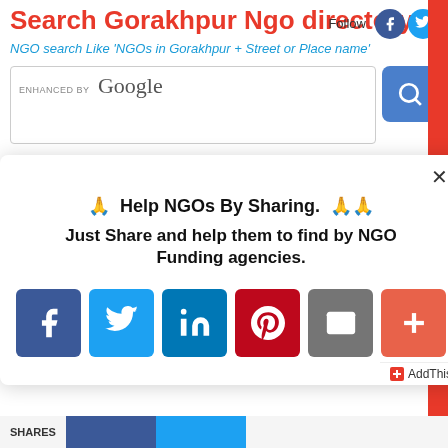Search Gorakhpur Ngo directory
NGO search Like 'NGOs in Gorakhpur + Street or Place name'
[Figure (screenshot): Google enhanced search box with search button]
[Figure (infographic): Modal popup: Help NGOs By Sharing. Just Share and help them to find by NGO Funding agencies. With Facebook, Twitter, LinkedIn, Pinterest, Email, and More share buttons. AddThis branding at bottom right.]